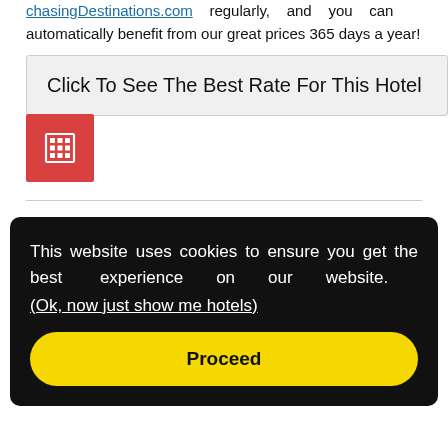chasingDestinations.com regularly, and you can automatically benefit from our great prices 365 days a year!
Click To See The Best Rate For This Hotel
[Figure (illustration): Red square button with a white building/hotel grid icon]
This website uses cookies to ensure you get the best experience on our website. (Ok, now just show me hotels)
Proceed